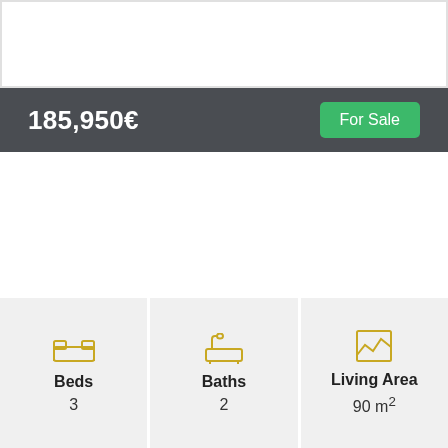[Figure (photo): Property photo placeholder (white/light area at top)]
185,950€
For Sale
Beds
3
Baths
2
Living Area
90 m²